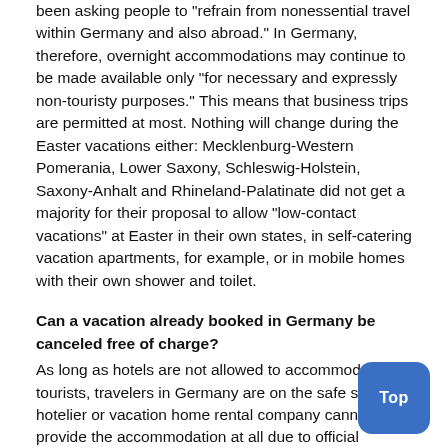been asking people to "refrain from nonessential travel within Germany and also abroad." In Germany, therefore, overnight accommodations may continue to be made available only "for necessary and expressly non-touristy purposes." This means that business trips are permitted at most. Nothing will change during the Easter vacations either: Mecklenburg-Western Pomerania, Lower Saxony, Schleswig-Holstein, Saxony-Anhalt and Rhineland-Palatinate did not get a majority for their proposal to allow "low-contact vacations" at Easter in their own states, in self-catering vacation apartments, for example, or in mobile homes with their own shower and toilet.
Can a vacation already booked in Germany be canceled free of charge?
As long as hotels are not allowed to accommodate tourists, travelers in Germany are on the safe side. If a hotelier or vacation home rental company cannot provide the accommodation at all due to official requirements, the guest does not have to pay anything for it under German law. He may withdraw from the booking free of charge and reclaim deposits. Holidaymakers should invoke the "impossibility of performance," says the Federation of German Consumer Organizations. For package tours the appropriate European travel guideline takes